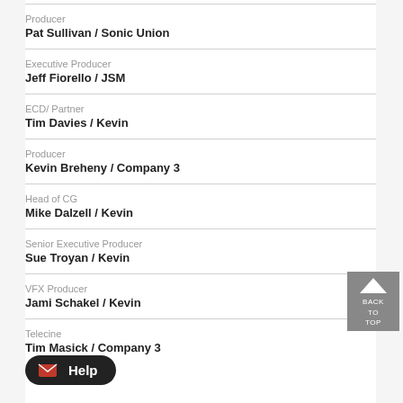Producer
Pat Sullivan / Sonic Union
Executive Producer
Jeff Fiorello / JSM
ECD/ Partner
Tim Davies / Kevin
Producer
Kevin Breheny / Company 3
Head of CG
Mike Dalzell / Kevin
Senior Executive Producer
Sue Troyan / Kevin
VFX Producer
Jami Schakel / Kevin
Telecine
Tim Masick / Company 3